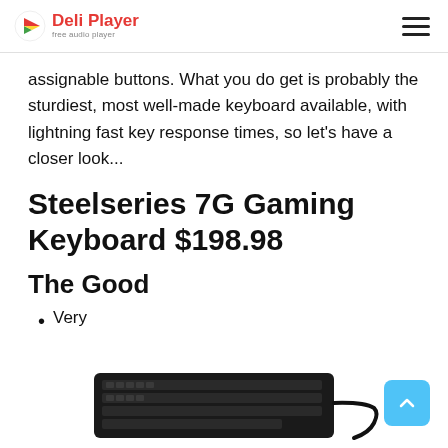Deli Player - free audio player
assignable buttons. What you do get is probably the sturdiest, most well-made keyboard available, with lightning fast key response times, so let's have a closer look...
Steelseries 7G Gaming Keyboard $198.98
The Good
Very
[Figure (photo): Steelseries 7G gaming keyboard photo shown at bottom of page]